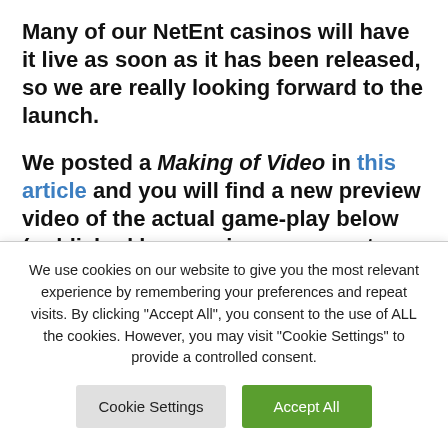Many of our NetEnt casinos will have it live as soon as it has been released, so we are really looking forward to the launch.
We posted a Making of Video in this article and you will find a new preview video of the actual game-play below (published by a casino we are not familiar with)
We use cookies on our website to give you the most relevant experience by remembering your preferences and repeat visits. By clicking "Accept All", you consent to the use of ALL the cookies. However, you may visit "Cookie Settings" to provide a controlled consent.